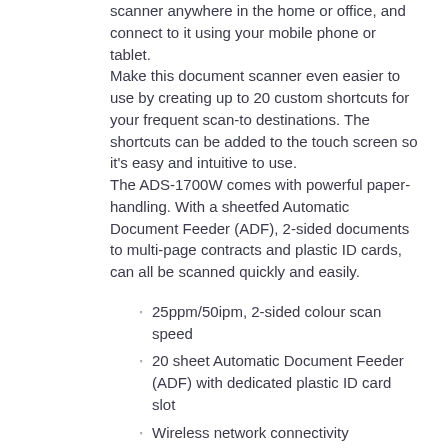scanner anywhere in the home or office, and connect to it using your mobile phone or tablet. Make this document scanner even easier to use by creating up to 20 custom shortcuts for your frequent scan-to destinations. The shortcuts can be added to the touch screen so it's easy and intuitive to use. The ADS-1700W comes with powerful paper-handling. With a sheetfed Automatic Document Feeder (ADF), 2-sided documents to multi-page contracts and plastic ID cards, can all be scanned quickly and easily.
25ppm/50ipm, 2-sided colour scan speed
20 sheet Automatic Document Feeder (ADF) with dedicated plastic ID card slot
Wireless network connectivity
Zero-touch scanning with auto start scan
Scan to PDF, file, email server, network, FTP, custom workflows